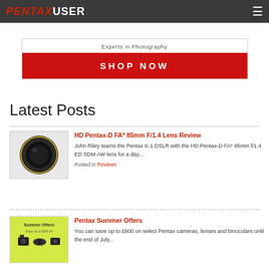PENTAXUSER
[Figure (other): Advertisement banner: 'Experts in Photography' with red SHOP NOW button]
Latest Posts
[Figure (photo): Thumbnail of HD Pentax-D FA* 85mm F/1.4 lens, black lens on white background]
HD Pentax-D FA* 85mm F/1.4 Lens Review
John Riley teams the Pentax K-1 DSLR with the HD Pentax-D FA* 85mm f/1.4 ED SDM AW lens for a day...
Posted in Reviews
[Figure (photo): Thumbnail showing Summer Offers promotional image with cameras and lenses on yellow background]
Pentax Summer Offers
You can save up to £600 on select Pentax cameras, lenses and binoculars until the end of July...